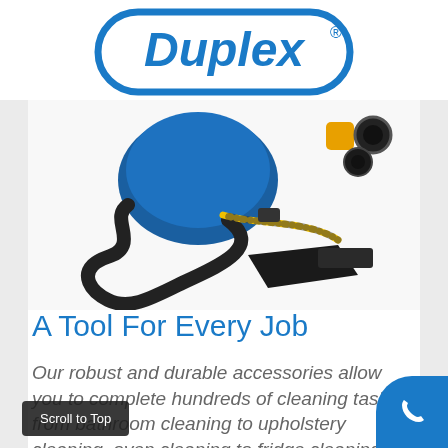[Figure (logo): Duplex logo — blue rounded rectangle outline with the word Duplex in blue italic script font and a registered trademark symbol]
[Figure (photo): Steam cleaning machine with black flexible hose, yellow-striped cable, triangular floor cleaning head, and various small nozzle attachments on a white background]
A Tool For Every Job
Our robust and durable accessories allow you to complete hundreds of cleaning tasks, from bathroom cleaning to upholstery cleaning, oven cleaning to fridge cleaning,